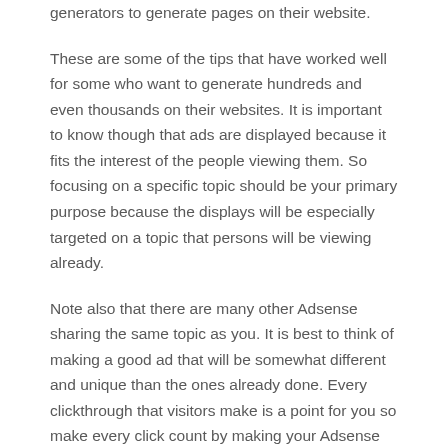generators to generate pages on their website.
These are some of the tips that have worked well for some who want to generate hundreds and even thousands on their websites. It is important to know though that ads are displayed because it fits the interest of the people viewing them. So focusing on a specific topic should be your primary purpose because the displays will be especially targeted on a topic that persons will be viewing already.
Note also that there are many other Adsense sharing the same topic as you. It is best to think of making a good ad that will be somewhat different and unique than the ones already done. Every clickthrough that visitors make is a point for you so make every click count by making your Adsense something that people will definitely click on.